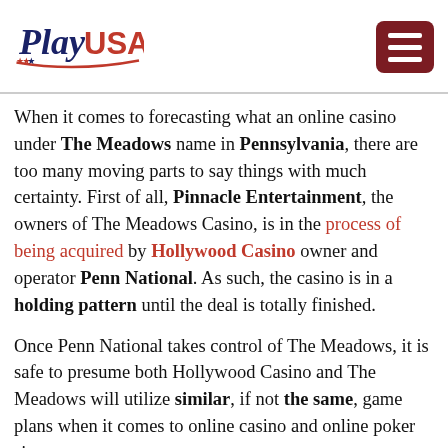PlayUSA [logo] [hamburger menu]
When it comes to forecasting what an online casino under The Meadows name in Pennsylvania, there are too many moving parts to say things with much certainty. First of all, Pinnacle Entertainment, the owners of The Meadows Casino, is in the process of being acquired by Hollywood Casino owner and operator Penn National. As such, the casino is in a holding pattern until the deal is totally finished.
Once Penn National takes control of The Meadows, it is safe to presume both Hollywood Casino and The Meadows will utilize similar, if not the same, game plans when it comes to online casino and online poker sites.
The question is what exactly that path will be. As of now, neither Penn nor Pinnacle has any existing online casino